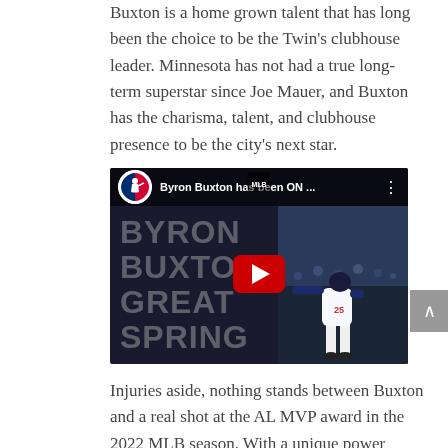Buxton is a home grown talent that has long been the choice to be the Twin's clubhouse leader. Minnesota has not had a true long-term superstar since Joe Mauer, and Buxton has the charisma, talent, and clubhouse presence to be the city's next star.
[Figure (screenshot): YouTube video thumbnail showing Byron Buxton MLB highlight video titled 'Byron Buxton has been ON ...' with MLB logo, red play button, and player batting image with text BYRON BUXTON GREAT SPRING]
Injuries aside, nothing stands between Buxton and a real shot at the AL MVP award in the 2022 MLB season. With a unique power speed combination, only